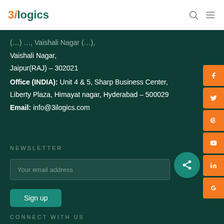3ilogics
Vaishali Nagar,
Jaipur(RAJ) – 302021
Office (INDIA): Unit 4 & 5, Sharp Business Center,
Liberty Plaza, Himayat nagar, Hyderabad – 500029
Email: info@3ilogics.com
NEWSLETTER
Your email address
Sign up
CONNECT WITH US